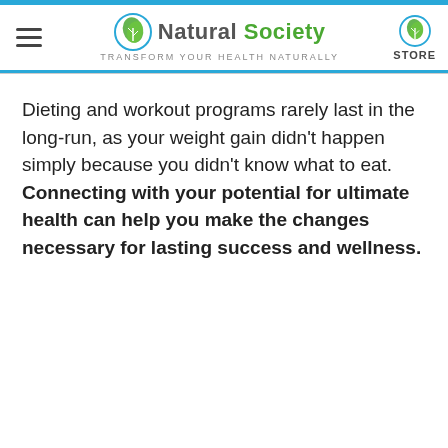Natural Society — Transform your health naturally | STORE
Dieting and workout programs rarely last in the long-run, as your weight gain didn't happen simply because you didn't know what to eat. Connecting with your potential for ultimate health can help you make the changes necessary for lasting success and wellness.